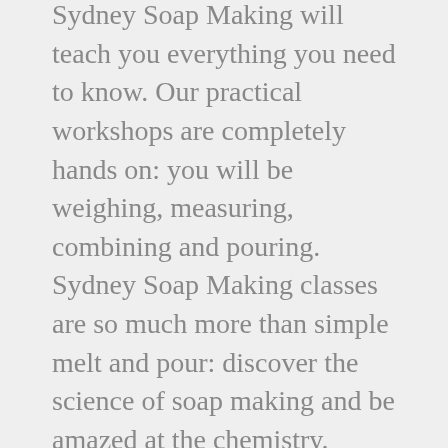Sydney Soap Making will teach you everything you need to know. Our practical workshops are completely hands on: you will be weighing, measuring, combining and pouring. Sydney Soap Making classes are so much more than simple melt and pour: discover the science of soap making and be amazed at the chemistry.
You will learn about and use raw, natural and unprocessed ingredients: base oils, pure essential oils, exotic butters and milks, local beeswax, ancient Australian clays, herbs and spices.
It's all here – everything you need to know to recreate beautiful soaps and body products at home, in simple, comprehensive workshops. Take home our tried and tested step by step instructions, recipes and techniques and you too can begin making your own luxurious, natural, earth-friendly soaps and body